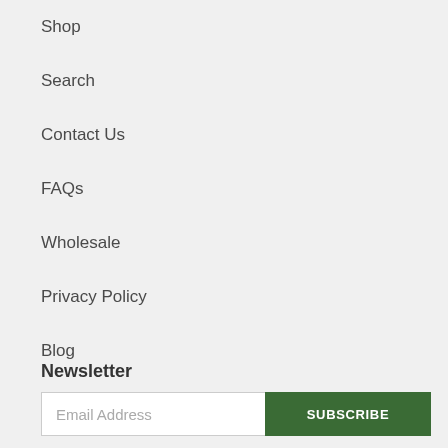Shop
Search
Contact Us
FAQs
Wholesale
Privacy Policy
Blog
Newsletter
Email Address  SUBSCRIBE